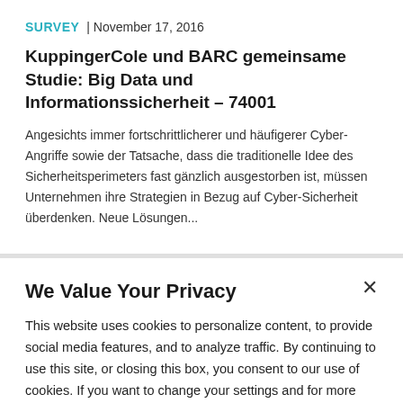SURVEY | November 17, 2016
KuppingerCole und BARC gemeinsame Studie: Big Data und Informationssicherheit – 74001
Angesichts immer fortschrittlicherer und häufigerer Cyber-Angriffe sowie der Tatsache, dass die traditionelle Idee des Sicherheitsperimeters fast gänzlich ausgestorben ist, müssen Unternehmen ihre Strategien in Bezug auf Cyber-Sicherheit überdenken. Neue Lösungen...
We Value Your Privacy
This website uses cookies to personalize content, to provide social media features, and to analyze traffic. By continuing to use this site, or closing this box, you consent to our use of cookies. If you want to change your settings and for more information, visit our Privacy Policy